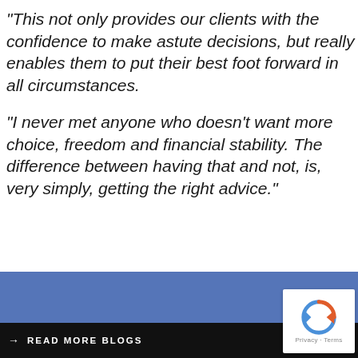“This not only provides our clients with the confidence to make astute decisions, but really enables them to put their best foot forward in all circumstances.
“I never met anyone who doesn’t want more choice, freedom and financial stability. The difference between having that and not, is, very simply, getting the right advice.”
→ READ MORE BLOGS